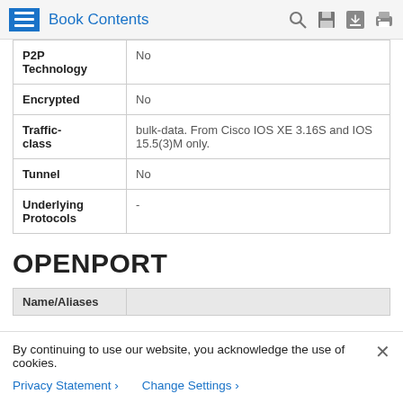Book Contents
| P2P Technology | No |
| Encrypted | No |
| Traffic-class | bulk-data. From Cisco IOS XE 3.16S and IOS 15.5(3)M only. |
| Tunnel | No |
| Underlying Protocols | - |
OPENPORT
| Name/Aliases | Description |
| --- | --- |
By continuing to use our website, you acknowledge the use of cookies.
Privacy Statement > Change Settings >